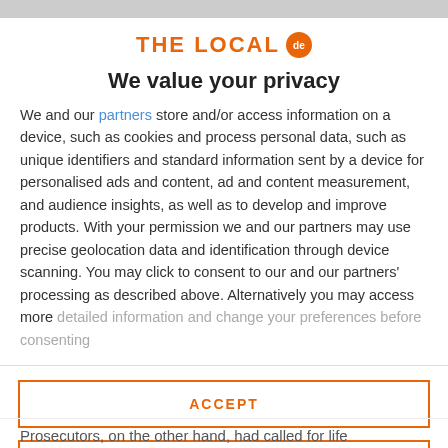THE LOCAL de
We value your privacy
We and our partners store and/or access information on a device, such as cookies and process personal data, such as unique identifiers and standard information sent by a device for personalised ads and content, ad and content measurement, and audience insights, as well as to develop and improve products. With your permission we and our partners may use precise geolocation data and identification through device scanning. You may click to consent to our and our partners' processing as described above. Alternatively you may access more detailed information and change your preferences before consenting
ACCEPT
MORE OPTIONS
Prosecutors, on the other hand, had called for life